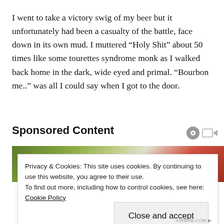I went to take a victory swig of my beer but it unfortunately had been a casualty of the battle, face down in its own mud. I muttered “Holy Shit” about 50 times like some tourettes syndrome monk as I walked back home in the dark, wide eyed and primal. “Bourbon me..” was all I could say when I got to the door.
Sponsored Content
[Figure (photo): Sponsored content banner image with green, white and red gradient/swoosh design]
Privacy & Cookies: This site uses cookies. By continuing to use this website, you agree to their use.
To find out more, including how to control cookies, see here: Cookie Policy
Close and accept